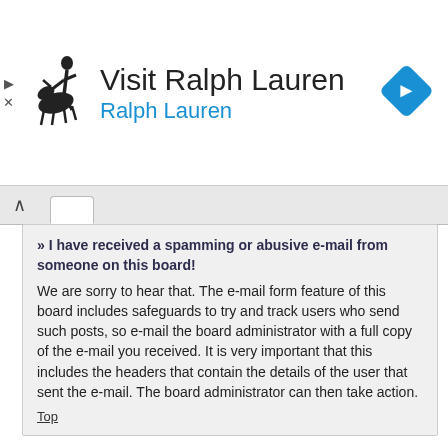[Figure (other): Advertisement banner for Ralph Lauren featuring a polo player logo, 'Visit Ralph Lauren' text, 'Ralph Lauren' in blue, a blue diamond navigation icon, and ad control arrows on the left.]
» I have received a spamming or abusive e-mail from someone on this board!
We are sorry to hear that. The e-mail form feature of this board includes safeguards to try and track users who send such posts, so e-mail the board administrator with a full copy of the e-mail you received. It is very important that this includes the headers that contain the details of the user that sent the e-mail. The board administrator can then take action.
Top
Friends and Foes
» What are my Friends and Foes lists?
You can use these lists to organise other members of the board. Members added to your friends list will be listed within your User Control Panel for quick access to see their online status and to send them private messages. Subject to template support, posts